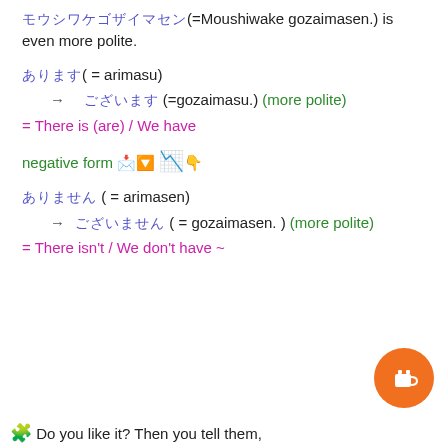申し訳ございません(=Moushiwake gozaimasen.) is even more polite.
あります( = arimasu)
→ ございます (=gozaimasu.) (more polite)
= There is (are) / We have
negative form 🔽
ありません ( = arimasen)
→ ございません ( = gozaimasen. ) (more polite)
= There isn't / We don't have ~
🧩 Do you like it? Then you tell them,